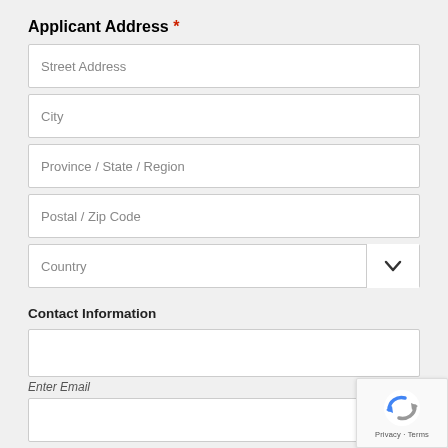Applicant Address *
Street Address
City
Province / State / Region
Postal / Zip Code
Country
Contact Information
Enter Email
[Figure (screenshot): reCAPTCHA badge with logo and Privacy - Terms text]